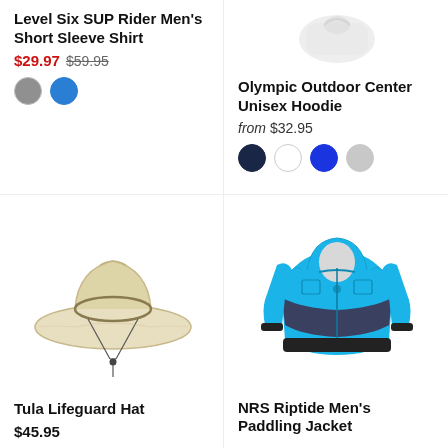Level Six SUP Rider Men's Short Sleeve Shirt
$29.97 $59.95
[Figure (illustration): Gray and blue color swatches for Level Six SUP Rider Men's Short Sleeve Shirt]
[Figure (photo): Olympic Outdoor Center Unisex Hoodie product image (partially visible, light gray/white)]
Olympic Outdoor Center Unisex Hoodie
from $32.95
[Figure (illustration): Color swatches: navy, white, cobalt blue, light gray for Olympic Outdoor Center Unisex Hoodie]
[Figure (photo): Tula Lifeguard Hat - wide-brim straw hat with chin cord]
Tula Lifeguard Hat
$45.95
[Figure (photo): NRS Riptide Men's Paddling Jacket - blue and navy kayaking dry top jacket on mannequin]
NRS Riptide Men's Paddling Jacket